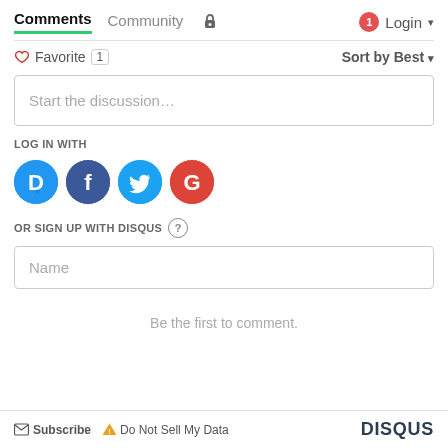Comments  Community  Login
Favorite 1  Sort by Best
Start the discussion…
LOG IN WITH
[Figure (other): Social login icons: Disqus (D), Facebook (f), Twitter bird, Google (G)]
OR SIGN UP WITH DISQUS ?
Name
Be the first to comment.
Subscribe  Do Not Sell My Data  DISQUS